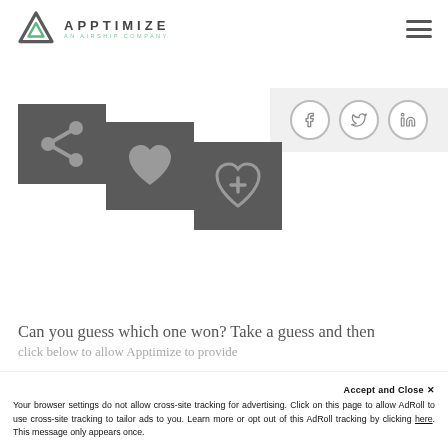APPTIMIZE AN AIRSHIP COMPANY
[Figure (screenshot): Apptimize logo with triangle icon and text 'APPTIMIZE AN AIRSHIP COMPANY']
[Figure (screenshot): Three social media icon circles: Facebook (f), Twitter (bird), LinkedIn (in)]
[Figure (illustration): Three app UI icon buttons on dark grey squares: share icon, heart/like icon, heart-plus/add icon, shown in a staircase arrangement]
Can you guess which one won? Take a guess and then
Accept and Close ✕ Your browser settings do not allow cross-site tracking for advertising. Click on this page to allow AdRoll to use cross-site tracking to tailor ads to you. Learn more or opt out of this AdRoll tracking by clicking here. This message only appears once.